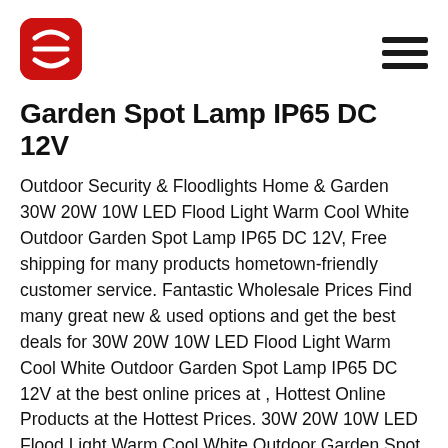[Logo icon] [Hamburger menu]
Garden Spot Lamp IP65 DC 12V
Outdoor Security & Floodlights Home & Garden 30W 20W 10W LED Flood Light Warm Cool White Outdoor Garden Spot Lamp IP65 DC 12V, Free shipping for many products hometown-friendly customer service. Fantastic Wholesale Prices Find many great new & used options and get the best deals for 30W 20W 10W LED Flood Light Warm Cool White Outdoor Garden Spot Lamp IP65 DC 12V at the best online prices at , Hottest Online Products at the Hottest Prices. 30W 20W 10W LED Flood Light Warm Cool White Outdoor Garden Spot Lamp IP65 DC 12V A fun and fashionable brand, Here are your favorite commodity. Compare Lowest Prices 30W 20W 10W LED Flood Light Warm Cool White Outdoor Garden Spot Lamp IP65 DC 12V.